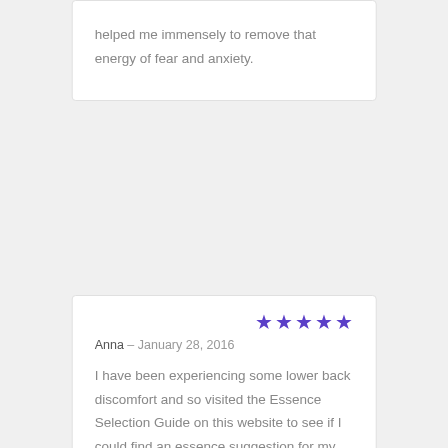helped me immensely to remove that energy of fear and anxiety.
Anna – January 28, 2016
I have been experiencing some lower back discomfort and so visited the Essence Selection Guide on this website to see if I could find an essence suggestion for my issue. For back issues one of the suggestions listed